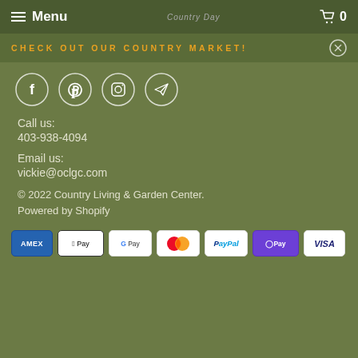Menu  0
CHECK OUT OUR COUNTRY MARKET!
[Figure (infographic): Social media icons: Facebook, Pinterest, Instagram, Telegram in white circle outlines]
Call us:
403-938-4094
Email us:
vickie@oclgc.com
© 2022 Country Living & Garden Center.
Powered by Shopify
[Figure (infographic): Payment method icons: AMEX, Apple Pay, Google Pay, Mastercard, PayPal, Shop Pay, VISA]